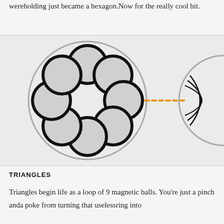wereholding just became a hexagon. Now for the really cool bit.
[Figure (illustration): Left: a ring of 8 gray balls arranged in a circle inside a larger gray circle outline. A dotted orange horizontal line extends from the ring to a partial circle on the right showing curved triangle/fold lines inside it.]
TRIANGLES
Triangles begin life as a loop of 9 magnetic balls. You're just a pinch anda poke from turning that uselessring into